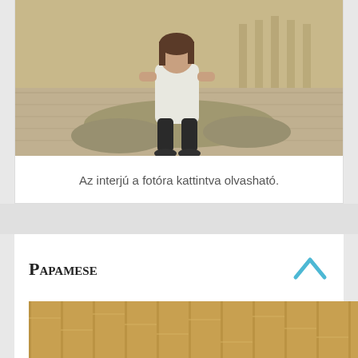[Figure (photo): Young woman sitting on a stone/concrete sculptural seat outdoors in a public plaza, wearing a white top and dark pants, smiling at the camera.]
Az interjú a fotóra kattintva olvasható.
Papamese
[Figure (photo): Close-up of vertical bamboo or wooden strips/curtain in warm golden-brown tones.]